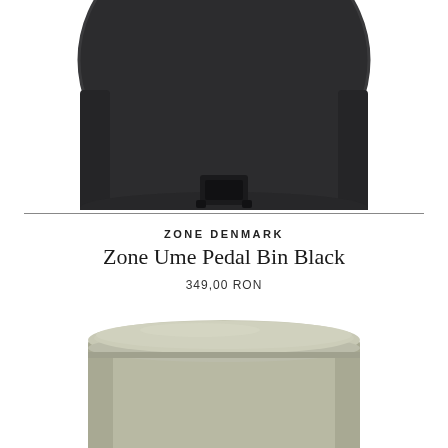[Figure (photo): Close-up bottom view of a dark charcoal/black rounded pedal bin, showing the curved body and foot pedal mechanism on white background]
ZONE DENMARK
Zone Ume Pedal Bin Black
349,00 RON
[Figure (photo): Top portion of a light sage/olive green cylindrical pedal bin with rounded lid, shown on white background]